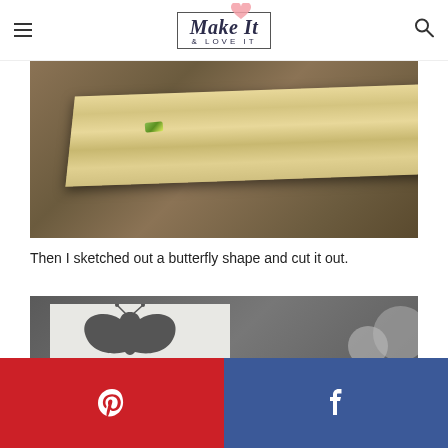Make It & Love It
[Figure (photo): A light wood plank/board lying diagonally on a dark brown surface, with a small green eraser or object resting on top of it.]
Then I sketched out a butterfly shape and cut it out.
[Figure (photo): A white board or foam sheet with a butterfly shape cut out of it, showing dark surface underneath, with circular objects partially visible at right edge.]
[Figure (infographic): Social share bar with Pinterest (red background, P icon) and Facebook (blue background, f icon) buttons.]